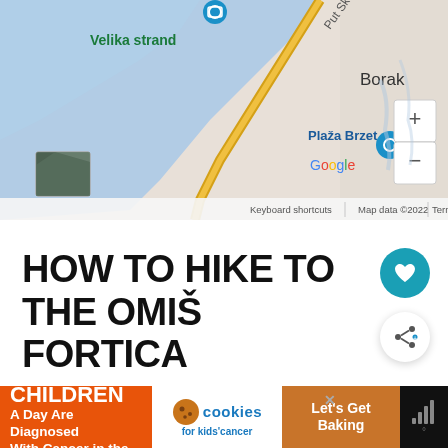[Figure (map): Google Maps screenshot showing coastal area near Omiš, Croatia. Shows Velika strand beach, Put Skalica road, Borak area, Plaža Brzet beach marker, Google logo, zoom controls (+/-), satellite thumbnail, and attribution text 'Keyboard shortcuts | Map data ©2022 | Terms of Use'.]
HOW TO HIKE TO THE OMIŠ FORTICA
Along with the epic Cetina River Rafting and th…
fa… Plaža Brzet … … to the St… … roatia's
[Figure (screenshot): Advertisement banner: orange section '43 CHILDREN A Day Are Diagnosed With Cancer in the U.S.', white section 'cookies for kids cancer', brown/tan section 'Let's Get Baking', with close X button and dark right section with signal/wifi icon.]